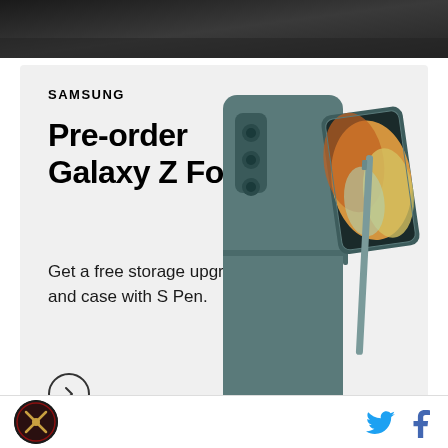[Figure (photo): Dark photo strip at top of page, showing a partial outdoor scene]
[Figure (infographic): Samsung advertisement for Galaxy Z Fold4 pre-order. Features bold headline 'Pre-order Galaxy Z Fold4', subtext 'Get a free storage upgrade and case with S Pen.', a right-arrow circle button, and product photo of teal/grey Samsung Galaxy Z Fold4 foldable phone with S Pen.]
Gressel, who chooses to look on the brighter side, believes this could be yet another catalyst for a run of
[Figure (logo): Circular dark logo in page footer, left side]
[Figure (other): Twitter and Facebook social media icons in page footer, right side]